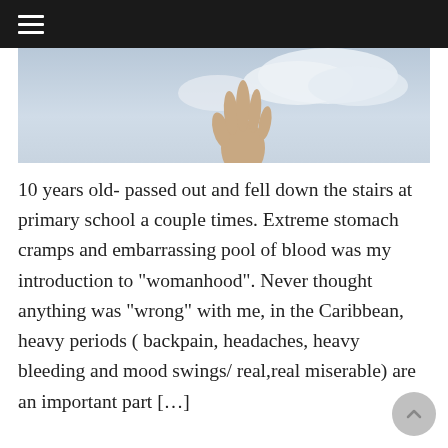☰
[Figure (photo): A hand reaching upward against a cloudy sky background]
10 years old- passed out and fell down the stairs at primary school a couple times. Extreme stomach cramps and embarrassing pool of blood was my introduction to "womanhood". Never thought anything was "wrong" with me, in the Caribbean, heavy periods ( backpain, headaches, heavy bleeding and mood swings/ real,real miserable) are an important part […]